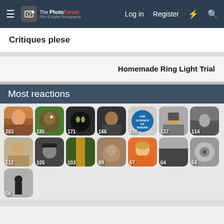The PhotoForum Film & Digital Photography — Log in | Register
Critiques plese
Homemade Ring Light Trial
Most reactions
[Figure (photo): Grid of 15 thumbnail photos with reaction counts: 283, 185, 171, 166, 166, 137, 114, 112, 105, 103, 89, 67, 64, 64, 58]